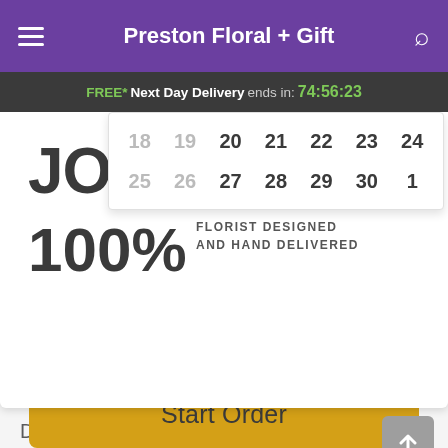Preston Floral + Gift
FREE* Next Day Delivery ends in: 74:56:23
[Figure (screenshot): Partially visible promotional card showing JOIN text and 100% with calendar date-picker overlay showing rows: 18 19 20 21 22 23 24 and 25 26 27 28 29 30 1, plus FLORIST DESIGNED AND HAND DELIVERED text]
Description
Your Valentine deserves the best. And nothing says "I love you" like a one-of-a-kind bouquet. Just leave it up to our florist to...
Start Order